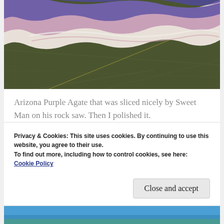[Figure (photo): Close-up photo of a sliced Arizona Purple Agate showing purple, white, and pink banding against a dark olive-green background]
Arizona Purple Agate that was sliced nicely by Sweet Man on his rock saw. Then I polished it.
Arizona is proud of all its Rocks, Minerals and Gems. Here you will find...
Privacy & Cookies: This site uses cookies. By continuing to use this website, you agree to their use.
To find out more, including how to control cookies, see here:
Cookie Policy
[Figure (photo): Partial view of an outdoor photo with blue sky, appears to be a landscape or nature scene]